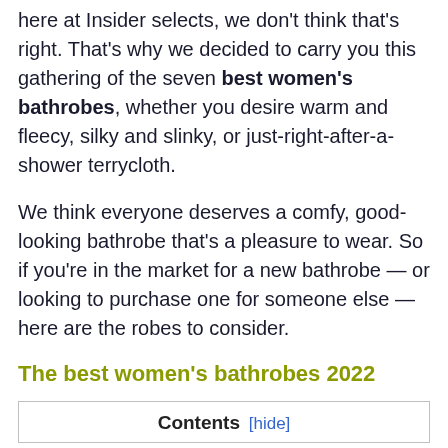here at Insider selects, we don't think that's right. That's why we decided to carry you this gathering of the seven best women's bathrobes, whether you desire warm and fleecy, silky and slinky, or just-right-after-a-shower terrycloth.
We think everyone deserves a comfy, good-looking bathrobe that's a pleasure to wear. So if you're in the market for a new bathrobe — or looking to purchase one for someone else — here are the robes to consider.
The best women's bathrobes 2022
| Contents [hide] |
| --- |